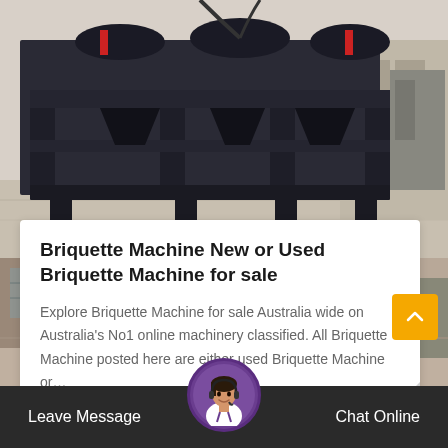[Figure (photo): Industrial briquette machine / crusher equipment in a factory setting, dark metal frame structure]
Briquette Machine New or Used Briquette Machine for sale
Explore Briquette Machine for sale Australia wide on Australia's No1 online machinery classified. All Briquette Machine posted here are either used Briquette Machine or...
[Figure (photo): Second industrial machinery photo showing equipment in a factory/warehouse environment with green machine visible]
Leave Message
Chat Online